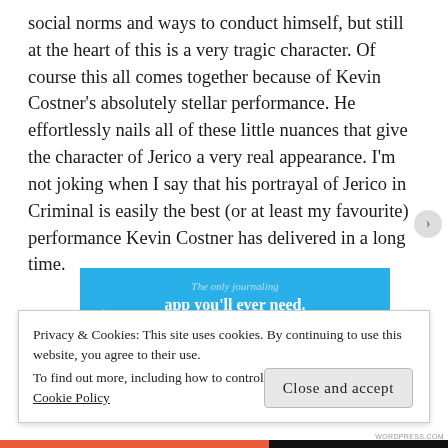social norms and ways to conduct himself, but still at the heart of this is a very tragic character. Of course this all comes together because of Kevin Costner's absolutely stellar performance. He effortlessly nails all of these little nuances that give the character of Jerico a very real appearance. I'm not joking when I say that his portrayal of Jerico in Criminal is easily the best (or at least my favourite) performance Kevin Costner has delivered in a long time.
[Figure (other): Blue advertisement banner for a journaling app with text 'The only journaling app you'll ever need.' and a button.]
Privacy & Cookies: This site uses cookies. By continuing to use this website, you agree to their use.
To find out more, including how to control cookies, see here:
Cookie Policy